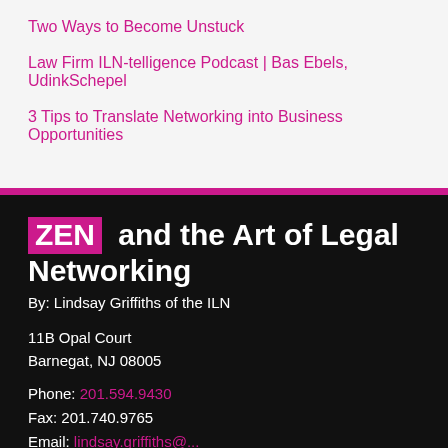Two Ways to Become Unstuck
Law Firm ILN-telligence Podcast | Bas Ebels, UdinkSchepel
3 Tips to Translate Networking into Business Opportunities
ZEN and the Art of Legal Networking
By: Lindsay Griffiths of the ILN
11B Opal Court
Barnegat, NJ 08005
Phone: 201.594.9430
Fax: 201.740.9765
Email: lindsay.griffiths@...